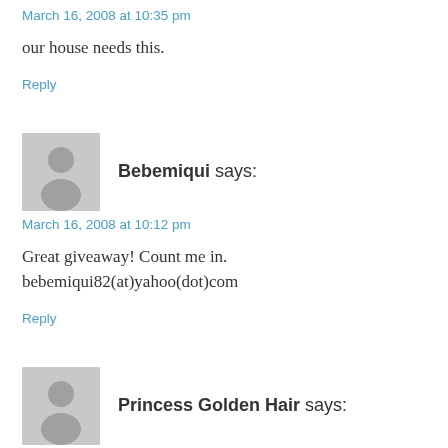March 16, 2008 at 10:35 pm
our house needs this.
Reply
[Figure (illustration): Generic grey avatar placeholder with person silhouette]
Bebemiqui says:
March 16, 2008 at 10:12 pm
Great giveaway! Count me in. bebemiqui82(at)yahoo(dot)com
Reply
[Figure (illustration): Generic grey avatar placeholder with person silhouette]
Princess Golden Hair says: